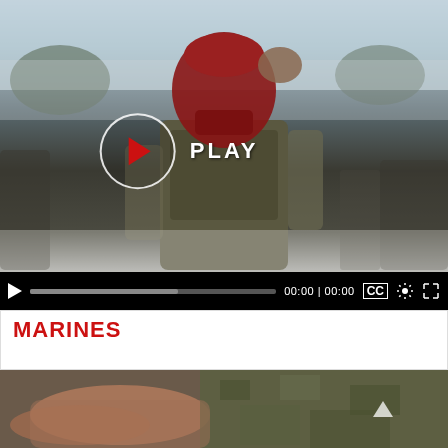[Figure (screenshot): Video player showing a military/Marines training scene. A soldier wearing a red Everlast boxing helmet and tactical vest is the main subject. A play button (circle with red triangle) and 'PLAY' text overlay are centered. Below is a video control bar with play button, progress bar showing '00:00 | 00:00', CC button, settings gear, and fullscreen expand icon.]
MARINES
[Figure (photo): Close-up photo of military personnel in camouflage uniforms, appearing to show hands/arms. A navigation arrow icon is visible on the right side.]